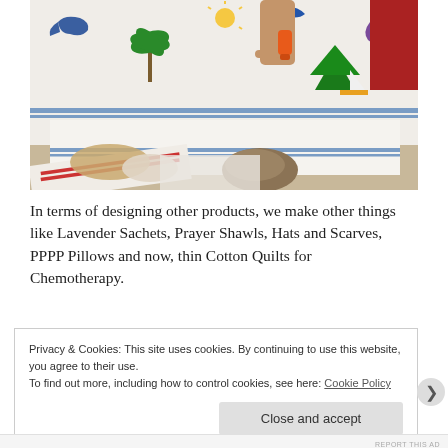[Figure (photo): A person's hand using a stamp or roller on a white fabric/quilt laid on a table. The fabric has colorful printed designs including dolphins, a palm tree, a sun, a seahorse, and green Christmas trees with a sailboat. Below the quilt are craft materials including cardboard cutouts and a cloth with red stripes.]
In terms of designing other products, we make other things like Lavender Sachets, Prayer Shawls, Hats and Scarves, PPPP Pillows and now, thin Cotton Quilts for Chemotherapy.
Privacy & Cookies: This site uses cookies. By continuing to use this website, you agree to their use.
To find out more, including how to control cookies, see here: Cookie Policy
Close and accept
REPORT THIS AD